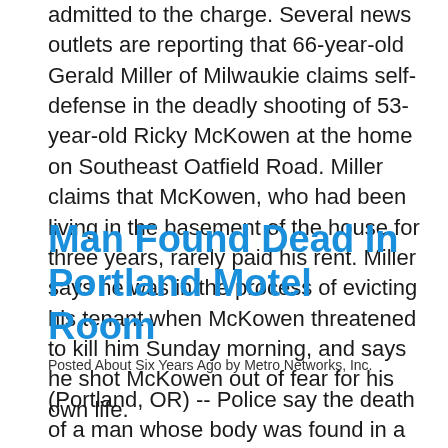admitted to the charge. Several news outlets are reporting that 66-year-old Gerald Miller of Milwaukie claims self-defense in the deadly shooting of 53-year-old Ricky McKowen at the home on Southeast Oatfield Road.  Miller claims that McKowen, who had been living in the basement of the house for three years, rarely paid his rent.  Miller says he was in the process of evicting his tenant when McKowen threatened to kill him Sunday morning, and says he shot McKowen out of fear for his own life.
Man Found Dead In Portland Motel Room
Posted About Six Years Ago by Metro Networks, Inc.
(Portland, OR)  --  Police say the death of a man whose body was found in a North Portland motel room may be a case of homicide.  The body was found yesterday